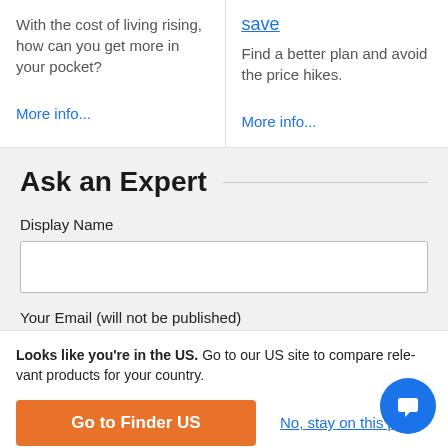With the cost of living rising, how can you get more in your pocket?
More info...
save
Find a better plan and avoid the price hikes.
More info...
Ask an Expert
Display Name
Your Email (will not be published)
Looks like you're in the US. Go to our US site to compare relevant products for your country.
Go to Finder US
No, stay on this page